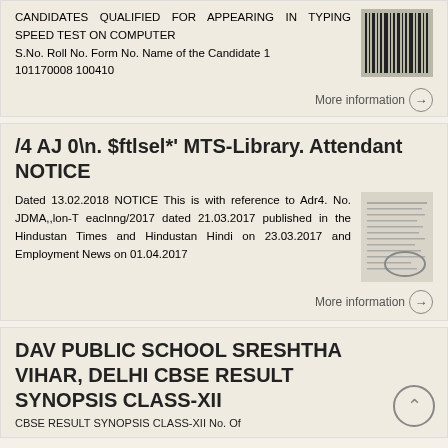CANDIDATES QUALIFIED FOR APPEARING IN TYPING SPEED TEST ON COMPUTER S.No. Roll No. Form No. Name of the Candidate 1 101170008 100410
[Figure (other): Thumbnail image of a document/barcode]
More information →
/4 AJ 0\n. $ftlsel*' MTS-Library. Attendant NOTICE
Dated 13.02.2018 NOTICE This is with reference to Adr4. No. JDMA,,lon-T eaclnng/2017 dated 21.03.2017 published in the Hindustan Times and Hindustan Hindi on 23.03.2017 and Employment News on 01.04.2017
[Figure (other): Thumbnail image of a notice document]
More information →
DAV PUBLIC SCHOOL SRESHTHA VIHAR, DELHI CBSE RESULT SYNOPSIS CLASS-XII
CBSE RESULT SYNOPSIS CLASS-XII No. Of